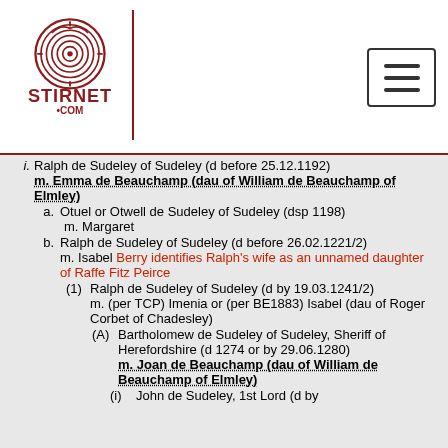STIRNET.COM
i. Ralph de Sudeley of Sudeley (d before 25.12.1192) m. Emma de Beauchamp (dau of William de Beauchamp of Elmley)
a. Otuel or Otwell de Sudeley of Sudeley (dsp 1198) m. Margaret
b. Ralph de Sudeley of Sudeley (d before 26.02.1221/2) m. Isabel Berry identifies Ralph's wife as an unnamed daughter of Raffe Fitz Peirce
(1) Ralph de Sudeley of Sudeley (d by 19.03.1241/2) m. (per TCP) Imenia or (per BE1883) Isabel (dau of Roger Corbet of Chadesley)
(A) Bartholomew de Sudeley of Sudeley, Sheriff of Herefordshire (d 1274 or by 29.06.1280) m. Joan de Beauchamp (dau of William de Beauchamp of Elmley)
(i) John de Sudeley, 1st Lord (d by 19.04.1336)